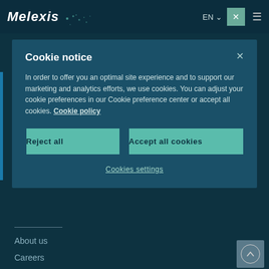Melexis  EN  ×  ≡
Cookie notice
In order to offer you an optimal site experience and to support our marketing and analytics efforts, we use cookies. You can adjust your cookie preferences in our Cookie preference center or accept all cookies. Cookie policy
Reject all
Accept all cookies
Cookies settings
About us
Careers
Events
Investors
News